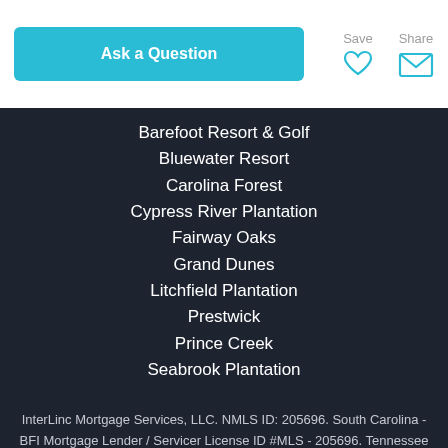Ask a Question | Save | Share
Barefoot Resort & Golf
Bluewater Resort
Carolina Forest
Cypress River Plantation
Fairway Oaks
Grand Dunes
Litchfield Plantation
Prestwick
Prince Creek
Seabrook Plantation
InterLinc Mortgage Services, LLC. NMLS ID: 205696. South Carolina - BFI Mortgage Lender / Servicer License ID #MLS - 205696. Tennessee Mortgage License ID #114460. InterLinc is an Equal Housing Lender. DISCLAIMER: This is not a commitment to lend. Credit and collateral are subject to